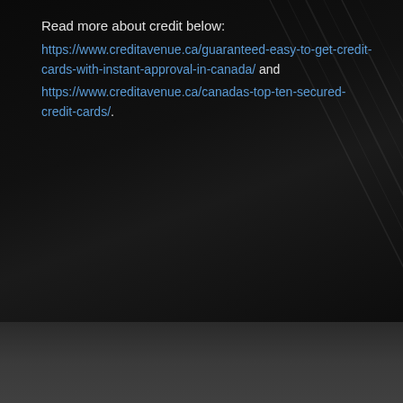Read more about credit below: https://www.creditavenue.ca/guaranteed-easy-to-get-credit-cards-with-instant-approval-in-canada/ and https://www.creditavenue.ca/canadas-top-ten-secured-credit-cards/.